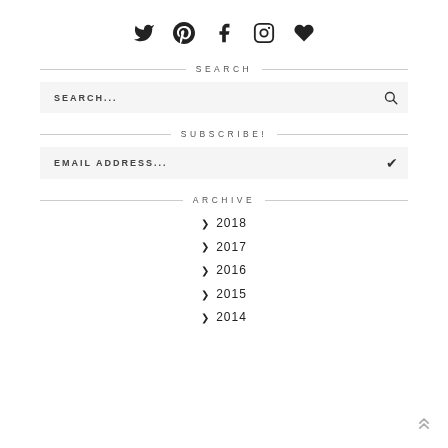[Figure (other): Social media icons row: Twitter, Pinterest, Facebook, Instagram, Heart/Bloglovin]
SEARCH
[Figure (other): Search input box with placeholder text SEARCH... and a search icon on the right]
SUBSCRIBE!
[Figure (other): Email address input box with placeholder text EMAIL ADDRESS... and a checkmark icon on the right]
ARCHIVE
❯ 2018
❯ 2017
❯ 2016
❯ 2015
❯ 2014